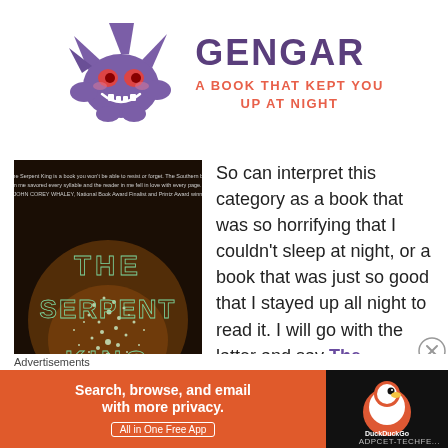[Figure (illustration): Gengar Pokemon character illustration — purple ghost-type Pokemon with large grin and spiky silhouette]
GENGAR
A BOOK THAT KEPT YOU UP AT NIGHT
[Figure (photo): Book cover of The Serpent King — dark background with glowing teal dotted letters spelling THE SERPENT KING, with a quote at the top]
So can interpret this category as a book that was so horrifying that I couldn't sleep at night, or a book that was just so good that I stayed up all night to read it. I will go with the latter and say The
Advertisements
[Figure (screenshot): DuckDuckGo advertisement banner: orange background with text 'Search, browse, and email with more privacy. All in One Free App' and DuckDuckGo logo on dark right panel]